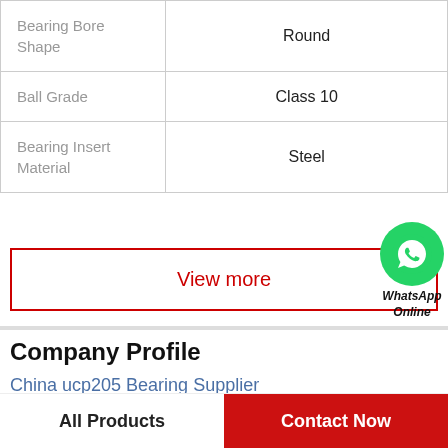| Property | Value |
| --- | --- |
| Bearing Bore Shape | Round |
| Ball Grade | Class 10 |
| Bearing Insert Material | Steel |
View more
[Figure (logo): WhatsApp green circle icon with phone handset, labeled 'WhatsApp Online']
Company Profile
China ucp205 Bearing Supplier
Phone  +1-753-845-3473
All Products
Contact Now